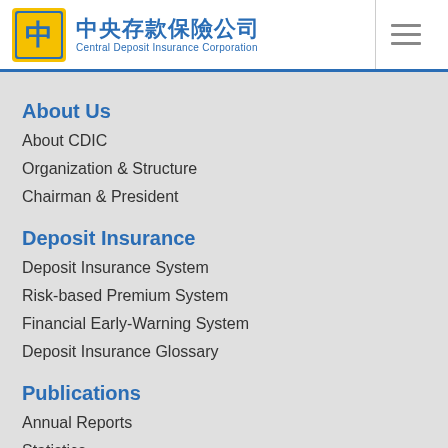中央存款保險公司 Central Deposit Insurance Corporation
About Us
About CDIC
Organization & Structure
Chairman & President
Deposit Insurance
Deposit Insurance System
Risk-based Premium System
Financial Early-Warning System
Deposit Insurance Glossary
Publications
Annual Reports
Statistics